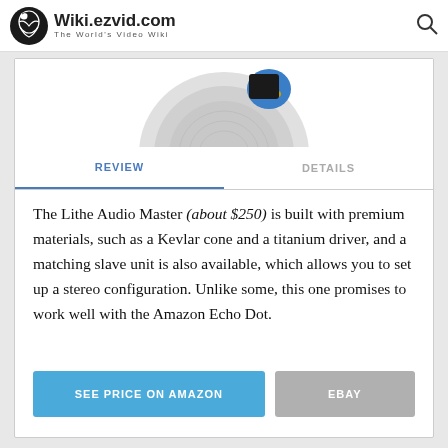Wiki.ezvid.com The World's Video Wiki
[Figure (photo): Partial view of a Lithe Audio Master ceiling speaker from below, showing the circular grille and blue driver components]
REVIEW    DETAILS
The Lithe Audio Master (about $250) is built with premium materials, such as a Kevlar cone and a titanium driver, and a matching slave unit is also available, which allows you to set up a stereo configuration. Unlike some, this one promises to work well with the Amazon Echo Dot.
SEE PRICE ON AMAZON    EBAY